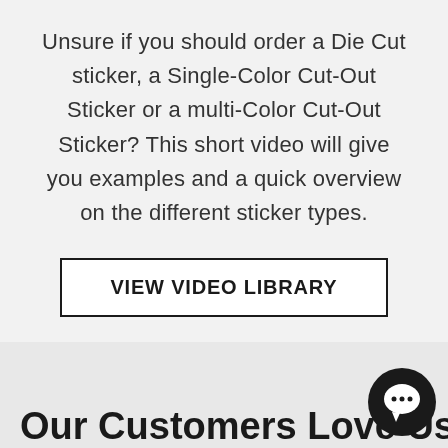Unsure if you should order a Die Cut sticker, a Single-Color Cut-Out Sticker or a multi-Color Cut-Out Sticker? This short video will give you examples and a quick overview on the different sticker types.
VIEW VIDEO LIBRARY
Our Customers Love Us